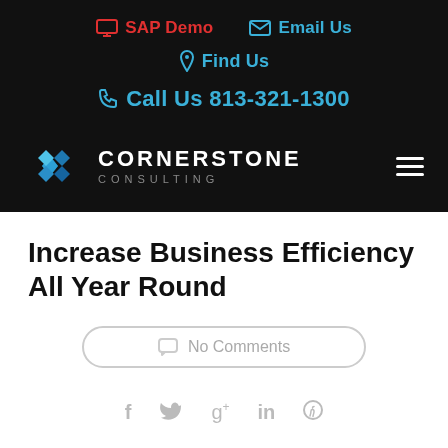SAP Demo  Email Us  Find Us  Call Us 813-321-1300
[Figure (logo): Cornerstone Consulting logo with blue diamond grid icon and white uppercase text]
Increase Business Efficiency All Year Round
No Comments
f  tw  g+  in   pinterest